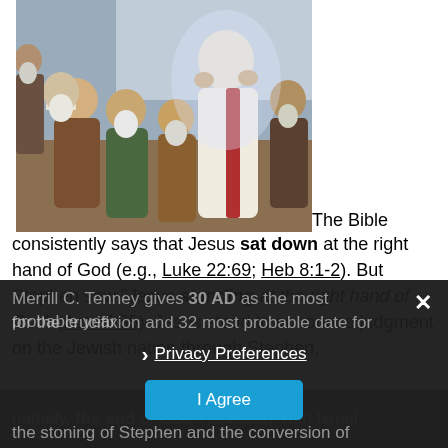[Figure (illustration): A painting depicting Jesus standing in white robes with hands raised, surrounded by seated bearded elders/religious figures in colorful robes]
The Bible consistently says that Jesus sat down at the right hand of God (e.g., Luke 22:69; Heb 8:1-2). But Stephen saw “Jesus standing at the right hand of God” (Acts 7:55). Jesus stood to announce judgment on the Jewish nation through Stephen, namely, the end of God’s covenant with Israel.
Merrill C. Tenney gives 30 AD as the most probable year for the crucifixion and 32 most probable date for the stoning of Stephen and the conversion of Paul. R.
[Figure (screenshot): Cookie consent dialog with Privacy Preferences link and I Agree button on dark overlay]